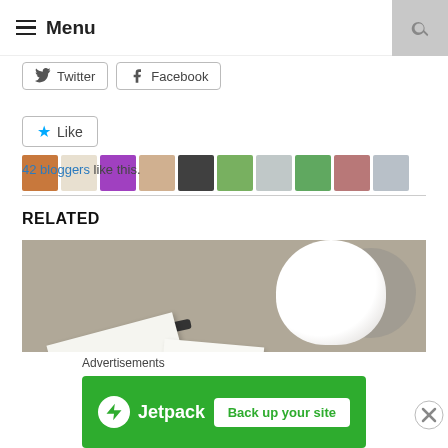≡ Menu
[Figure (screenshot): Twitter and Facebook social share buttons]
[Figure (screenshot): Like button with 10 blogger avatars]
42 bloggers like this.
RELATED
[Figure (photo): Photo of a white vase, pen and white cards on a table surface]
[Figure (screenshot): Jetpack advertisement banner: Back up your site. Advertisements label above.]